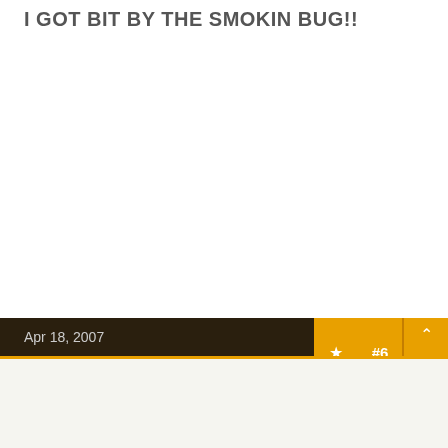I GOT BIT BY THE SMOKIN BUG!!
Apr 18, 2007
#6
chris_harper
Master of the Pit
OTBS Member